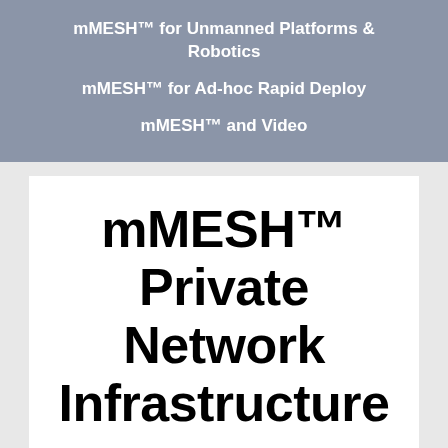mMESH™ for Unmanned Platforms & Robotics
mMESH™ for Ad-hoc Rapid Deploy
mMESH™ and Video
mMESH™ Private Network Infrastructure